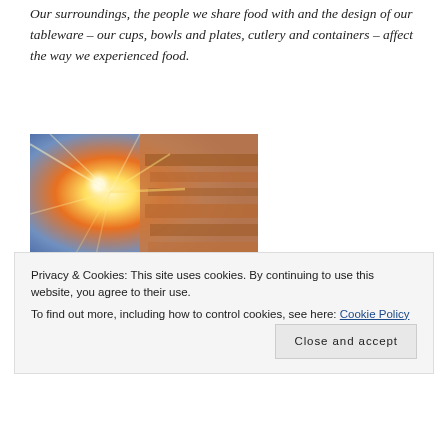Our surroundings, the people we share food with and the design of our tableware – our cups, bowls and plates, cutlery and containers – affect the way we experienced food.
[Figure (photo): Ancient stone monument or temple facade with sunlight bursting from behind carved architectural elements against a blue sky]
Privacy & Cookies: This site uses cookies. By continuing to use this website, you agree to their use.
To find out more, including how to control cookies, see here: Cookie Policy